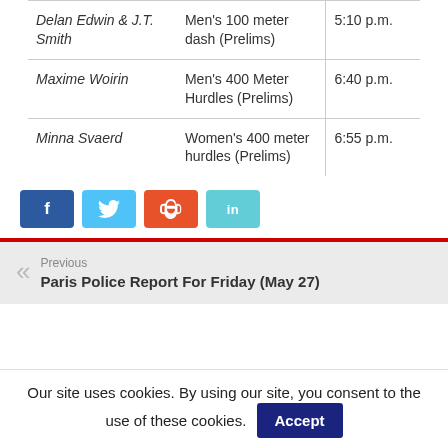| Athlete | Event | Time |
| --- | --- | --- |
| Delan Edwin & J.T. Smith | Men's 100 meter dash (Prelims) | 5:10 p.m. |
| Maxime Woirin | Men's 400 Meter Hurdles (Prelims) | 6:40 p.m. |
| Minna Svaerd | Women's 400 meter hurdles (Prelims) | 6:55 p.m. |
[Figure (other): Social sharing buttons: Facebook (blue), Twitter (light blue), StumbleUpon (orange), LinkedIn (teal)]
Previous: Paris Police Report For Friday (May 27)
Our site uses cookies. By using our site, you consent to the use of these cookies. Accept